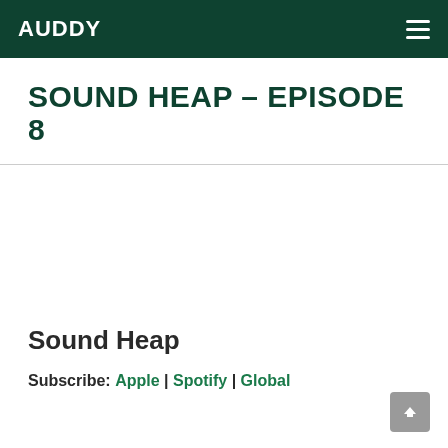AUDDY
SOUND HEAP – EPISODE 8
Sound Heap
Subscribe: Apple | Spotify | Global